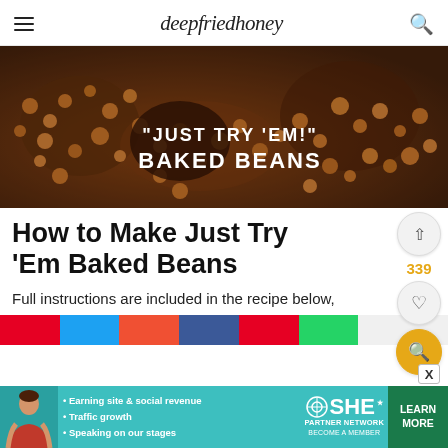deepfriedhoney
[Figure (photo): Close-up photo of baked beans in a dark cast iron dish, with white bold text overlay reading '"JUST TRY 'EM!" BAKED BEANS']
How to Make Just Try 'Em Baked Beans
Full instructions are included in the recipe below,
[Figure (infographic): Social share bar with colored buttons: Pinterest (red), Twitter (blue), Facebook (orange-red), Facebook (dark blue), Pinterest (red), WhatsApp (green), and a white button]
[Figure (infographic): Advertisement banner for SHE Media Partner Network featuring a woman and bullet points: Earning site & social revenue, Traffic growth, Speaking on our stages. With LEARN MORE button.]